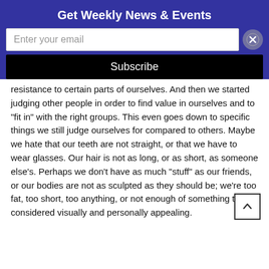Get Weekly News & Events
Enter your email
Subscribe
resistance to certain parts of ourselves. And then we started judging other people in order to find value in ourselves and to “fit in” with the right groups. This even goes down to specific things we still judge ourselves for compared to others. Maybe we hate that our teeth are not straight, or that we have to wear glasses. Our hair is not as long, or as short, as someone else’s. Perhaps we don’t have as much “stuff” as our friends, or our bodies are not as sculpted as they should be; we’re too fat, too short, too anything, or not enough of something to be considered visually and personally appealing.